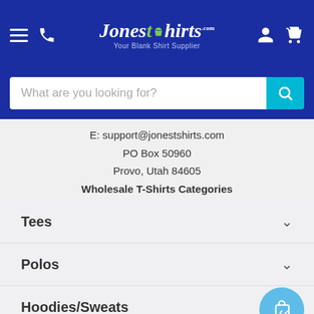[Figure (screenshot): JonesTshirts.com website header with logo, hamburger menu, phone icon, user icon, and cart icon on a blue background]
[Figure (screenshot): Search bar with placeholder text 'What are you looking for?' and a teal search button]
E: support@jonestshirts.com
PO Box 50960
Provo, Utah 84605
Wholesale T-Shirts Categories
Tees
Polos
Hoodies/Sweats
Tanks
Bags/Aprons